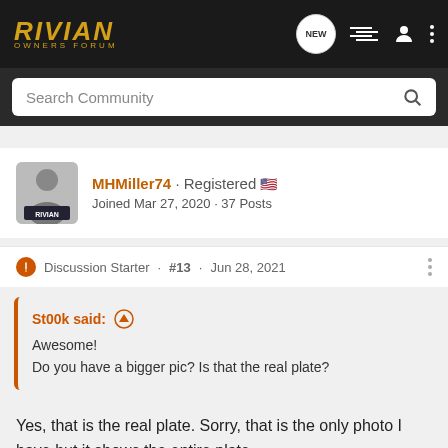RIVIAN OWNERS FORUM
Search Community
MHMiller74 · Registered
Joined Mar 27, 2020 · 37 Posts
Discussion Starter · #13 · Jun 28, 2021
St00k said:
Awesome!
Do you have a bigger pic? Is that the real plate?
Yes, that is the real plate. Sorry, that is the only photo I have but it shows the entire plate.